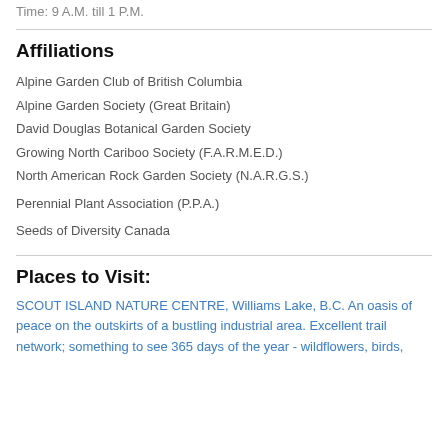Time: 9 A.M. till 1 P.M.
Affiliations
Alpine Garden Club of British Columbia
Alpine Garden Society (Great Britain)
David Douglas Botanical Garden Society
Growing North Cariboo Society (F.A.R.M.E.D.)
North American Rock Garden Society (N.A.R.G.S.)
Perennial Plant Association (P.P.A.)
Seeds of Diversity Canada
Places to Visit:
SCOUT ISLAND NATURE CENTRE, Williams Lake, B.C. An oasis of peace on the outskirts of a bustling industrial area. Excellent trail network; something to see 365 days of the year - wildflowers, birds,